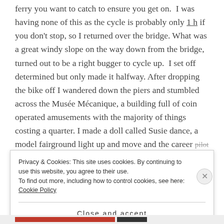ferry you want to catch to ensure you get on. I was having none of this as the cycle is probably only 1 h if you don't stop, so I returned over the bridge. What was a great windy slope on the way down from the bridge, turned out to be a right bugger to cycle up. I set off determined but only made it halfway. After dropping the bike off I wandered down the piers and stumbled across the Musée Mécanique, a building full of coin operated amusements with the majority of things costing a quarter. I made a doll called Susie dance, a model fairground light up and move and the career pilot informed me I'm a clock watcher. It also had the
Privacy & Cookies: This site uses cookies. By continuing to use this website, you agree to their use.
To find out more, including how to control cookies, see here: Cookie Policy
Close and accept